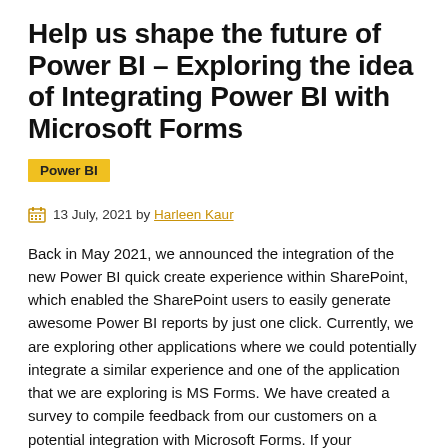Help us shape the future of Power BI – Exploring the idea of Integrating Power BI with Microsoft Forms
Power BI
13 July, 2021 by Harleen Kaur
Back in May 2021, we announced the integration of the new Power BI quick create experience within SharePoint, which enabled the SharePoint users to easily generate awesome Power BI reports by just one click. Currently, we are exploring other applications where we could potentially integrate a similar experience and one of the application that we are exploring is MS Forms. We have created a survey to compile feedback from our customers on a potential integration with Microsoft Forms. If your organization uses